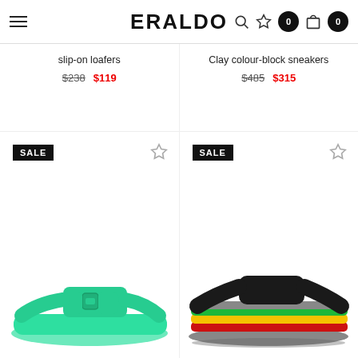ERALDO
slip-on loafers  $238  $119
Clay colour-block sneakers  $485  $315
[Figure (photo): Green slide sandal with buckle strap]
[Figure (photo): Black slide sandal with rasta-colored striped sole]